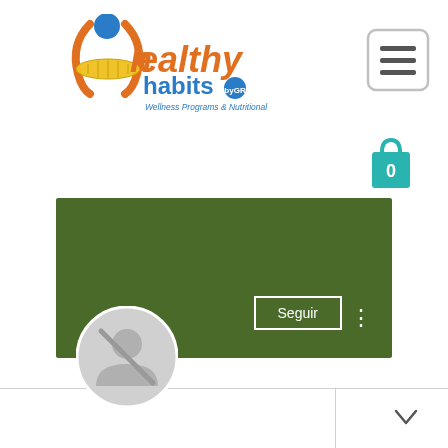[Figure (logo): Healthy Habits by GR logo — orange figure with blue circle head, yellow tape measure, orange and blue stylized text reading 'healthy habits by GR', subtitle 'Wellness Programs & Nutritional Counseling']
[Figure (illustration): Hamburger menu icon button (three horizontal lines in a rounded square border)]
[Figure (illustration): Teal shopping bag icon with the number 0]
[Figure (illustration): Green banner background with a Seguir (Follow) button and a three-dot menu icon, plus a gray circular profile photo placeholder below]
Where To Buy Clomid Cheap No...
0 Seguidores  •  0 Siguiendo